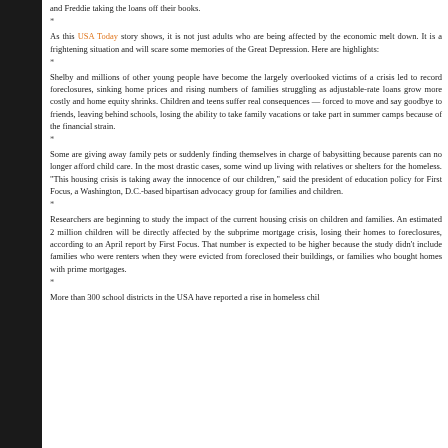and Freddie taking the loans off their books.
*
As this USA Today story shows, it is not just adults who are being affected by the economic melt down. It is a frightening situation and will scare some memories of the Great Depression. Here are highlights:
*
Shelby and millions of other young people have become the largely overlooked victims of a crisis led to record foreclosures, sinking home prices and rising numbers of families struggling as adjustable-rate loans grow more costly and home equity shrinks. Children and teens suffer real consequences — forced to move and say goodbye to friends, leaving behind schools, losing the ability to take family vacations or take part in summer camps because of the financial strain.
*
Some are giving away family pets or suddenly finding themselves in charge of babysitting because parents can no longer afford child care. In the most drastic cases, some wind up living with relatives or shelters for the homeless. "This housing crisis is taking away the innocence of our children," said the president of education policy for First Focus, a Washington, D.C.-based bipartisan advocacy group for families and children.
*
Researchers are beginning to study the impact of the current housing crisis on children and families. An estimated 2 million children will be directly affected by the subprime mortgage crisis, losing their homes to foreclosures, according to an April report by First Focus. That number is expected to be higher because the study didn't include families who were renters when they were evicted from foreclosed their buildings, or families who bought homes with prime mortgages.
*
More than 300 school districts in the USA have reported a rise in homeless chil